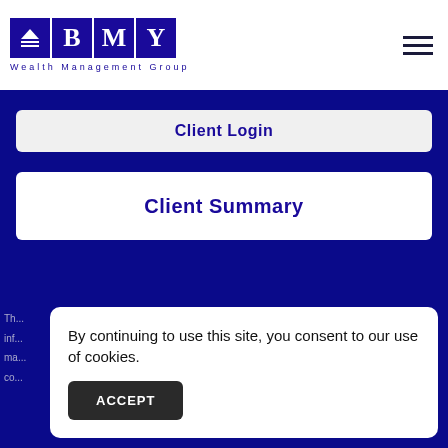[Figure (logo): BMY Wealth Management Group logo — four dark blue squares containing a pyramid/triangle icon with lines, letter B, letter M, letter Y. Below the squares: 'Wealth Management Group' in spaced blue text.]
Client Login
Client Summary
By continuing to use this site, you consent to our use of cookies.
ACCEPT